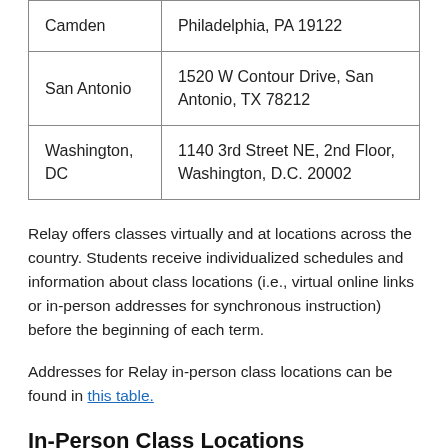| Location | Address |
| --- | --- |
| Camden | Philadelphia, PA 19122 |
| San Antonio | 1520 W Contour Drive, San Antonio, TX 78212 |
| Washington, DC | 1140 3rd Street NE, 2nd Floor, Washington, D.C. 20002 |
Relay offers classes virtually and at locations across the country. Students receive individualized schedules and information about class locations (i.e., virtual online links or in-person addresses for synchronous instruction) before the beginning of each term.
Addresses for Relay in-person class locations can be found in this table.
In-Person Class Locations